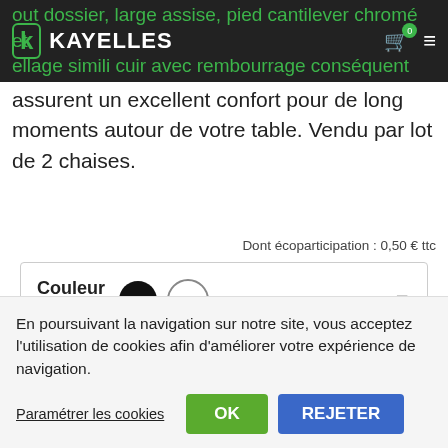KAYELLES
out dossier, large assise, pied cantilever chromé et ellage simili cuir avec rembourrage conséquent assurent un excellent confort pour de long moments autour de votre table. Vendu par lot de 2 chaises.
Dont écoparticipation : 0,50 € ttc
Couleur : ● ○
693 ABLA Blanc   En stock
En poursuivant la navigation sur notre site, vous acceptez l'utilisation de cookies afin d'améliorer votre expérience de navigation.
Paramétrer les cookies   OK   REJETER